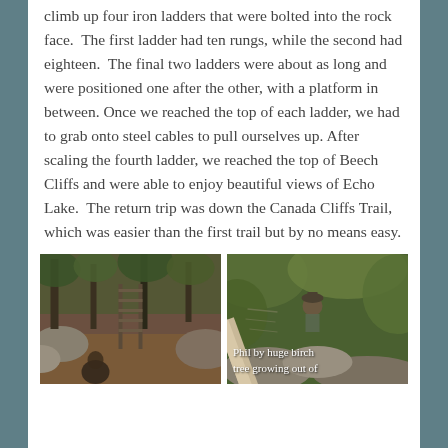climb up four iron ladders that were bolted into the rock face.  The first ladder had ten rungs, while the second had eighteen.  The final two ladders were about as long and were positioned one after the other, with a platform in between.  Once we reached the top of each ladder, we had to grab onto steel cables to pull ourselves up.  After scaling the fourth ladder, we reached the top of Beech Cliffs and were able to enjoy beautiful views of Echo Lake.  The return trip was down the Canada Cliffs Trail, which was easier than the first trail but by no means easy.
[Figure (photo): A forest trail scene showing rocky terrain with an iron ladder bolted into rock face, surrounded by trees. A person visible at bottom of frame.]
[Figure (photo): Phil standing by a huge birch tree growing out of rocks, surrounded by green foliage.]
Phil by huge birch tree growing out of